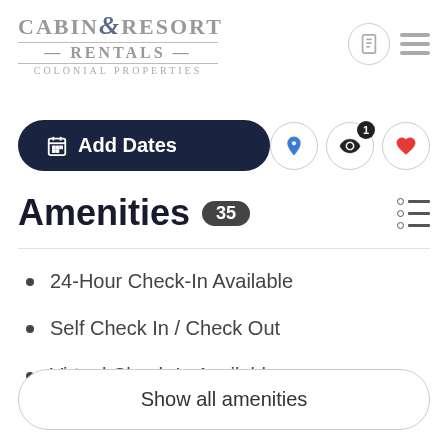[Figure (logo): Cabin & Resort Rentals Colonial Properties logo with serif text]
Add Dates
Amenities 35
24-Hour Check-In Available
Self Check In / Check Out
Virtual Check-In Available
Show all amenities